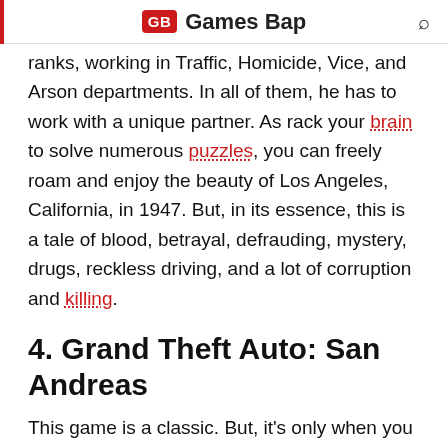GB Games Bap
ranks, working in Traffic, Homicide, Vice, and Arson departments. In all of them, he has to work with a unique partner. As rack your brain to solve numerous puzzles, you can freely roam and enjoy the beauty of Los Angeles, California, in 1947. But, in its essence, this is a tale of blood, betrayal, defrauding, mystery, drugs, reckless driving, and a lot of corruption and killing.
4. Grand Theft Auto: San Andreas
This game is a classic. But, it's only when you replay the game nowadays that you realize how low quality